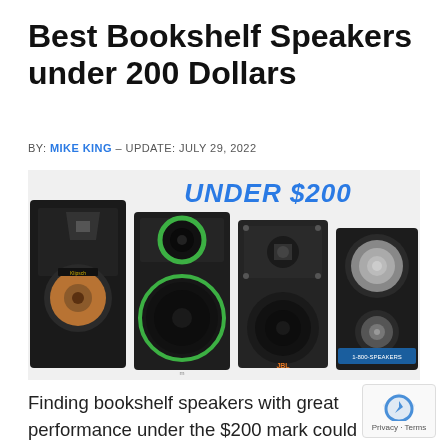Best Bookshelf Speakers under 200 Dollars
BY: MIKE KING – UPDATE: JULY 29, 2022
[Figure (photo): Four bookshelf speakers side by side with 'UNDER $200' text overlay in blue]
Finding bookshelf speakers with great performance under the $200 mark could be challenging for most people. Many of the